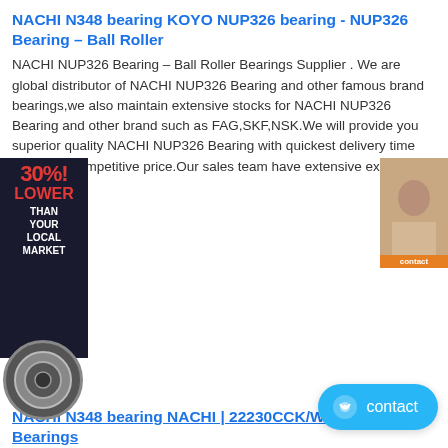NACHI N348 bearing KOYO NUP326 bearing - NUP326 Bearing – Ball Roller
NACHI NUP326 Bearing – Ball Roller Bearings Supplier . We are global distributor of NACHI NUP326 Bearing and other famous brand bearings,we also maintain extensive stocks for NACHI NUP326 Bearing and other brand such as FAG,SKF,NSK.We will provide you superior quality NACHI NUP326 Bearing with quickest delivery time and most competitive price.Our sales team have extensive experience of ...
[Figure (illustration): Advertisement overlay with text '30%! LOWER THAN YOUR LOCAL MARKET' in red and white on dark background, with a circular bearing logo below, and a small product/person image on the right side]
NACHI N348 bearing NACHI | 22230CCK/W33 | 153530 | Bearings
The axial load capacity of NACHI 22230CCK/W33 bearings is limited by their internal design and depends on how they are locked to the shaft. The standard size of the Spherical Roller Bearings NACHI bearing is 150 - 270 - 73mm. Our NACHI 22230CCK/W33 bearing can withstand a large axial load of more than 20% of the basic dynamic load rating.
NACHI N348 bearing High Load Brass Cage Single Row Cylindrical Roller
Rolling Body: Roller Bearings The Number of Rows: Single Outer Dimension: Large (200-430mm) Material: Bearing Steel Spherical: No Load Direction: Radial Bearing
NACHI N348 bearing (30 ANSE 'NACHI' Bearing Row of ...